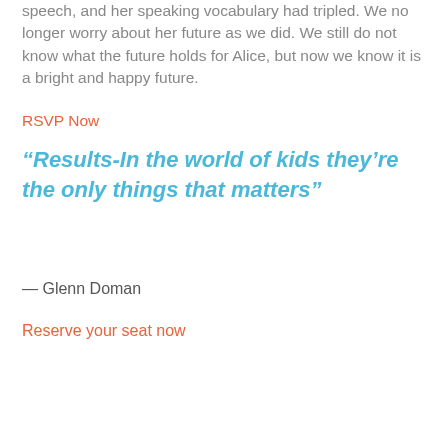speech, and her speaking vocabulary had tripled. We no longer worry about her future as we did. We still do not know what the future holds for Alice, but now we know it is a bright and happy future.
RSVP Now
“Results-In the world of kids they’re the only things that matters”
— Glenn Doman
Reserve your seat now